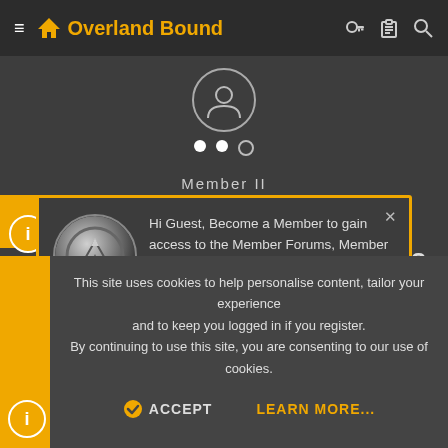Overland Bound
[Figure (screenshot): Mobile app screenshot of Overland Bound forum with membership popup dialog and cookie consent banner]
Hi Guest, Become a Member to gain access to the Member Forums, Member Map, Member Calendar of Events, and Rally Point overland trip planner! Click this link LEARN MORE for more information!
0838
Ja   < #15
Yo   heuver.
This site uses cookies to help personalise content, tailor your experience and to keep you logged in if you register.
By continuing to use this site, you are consenting to our use of cookies.
ACCEPT   LEARN MORE...